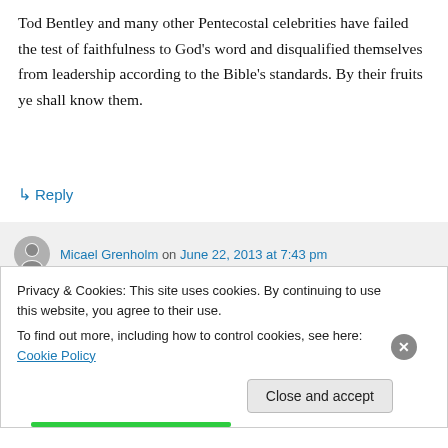Tod Bentley and many other Pentecostal celebrities have failed the test of faithfulness to God's word and disqualified themselves from leadership according to the Bible's standards. By their fruits ye shall know them.
↳ Reply
Micael Grenholm on June 22, 2013 at 7:43 pm
Hi Michael!
Privacy & Cookies: This site uses cookies. By continuing to use this website, you agree to their use.
To find out more, including how to control cookies, see here: Cookie Policy
Close and accept